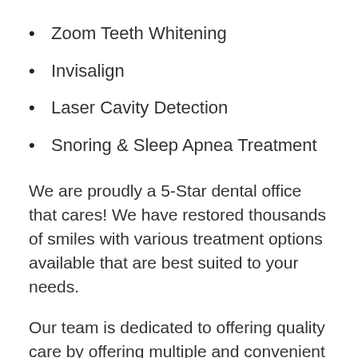Zoom Teeth Whitening
Invisalign
Laser Cavity Detection
Snoring & Sleep Apnea Treatment
We are proudly a 5-Star dental office that cares! We have restored thousands of smiles with various treatment options available that are best suited to your needs.
Our team is dedicated to offering quality care by offering multiple and convenient payment plans. We want to help you smile with confidence, and leave feeling great knowing